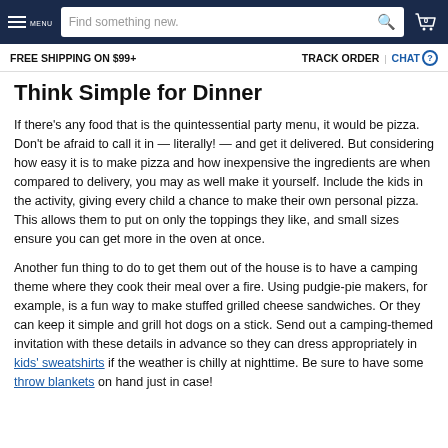MENU | Find something new. | 0
FREE SHIPPING ON $99+ | TRACK ORDER | CHAT
Think Simple for Dinner
If there's any food that is the quintessential party menu, it would be pizza. Don't be afraid to call it in — literally! — and get it delivered. But considering how easy it is to make pizza and how inexpensive the ingredients are when compared to delivery, you may as well make it yourself. Include the kids in the activity, giving every child a chance to make their own personal pizza. This allows them to put on only the toppings they like, and small sizes ensure you can get more in the oven at once.
Another fun thing to do to get them out of the house is to have a camping theme where they cook their meal over a fire. Using pudgie-pie makers, for example, is a fun way to make stuffed grilled cheese sandwiches. Or they can keep it simple and grill hot dogs on a stick. Send out a camping-themed invitation with these details in advance so they can dress appropriately in kids' sweatshirts if the weather is chilly at nighttime. Be sure to have some throw blankets on hand just in case!